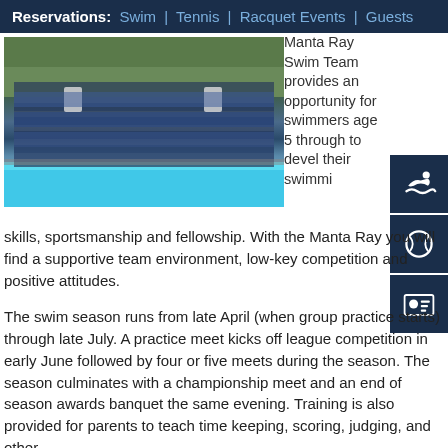Reservations: Swim | Tennis | Racquet Events | Guests
[Figure (photo): Group photo of the Manta Ray Swim Team, many swimmers in blue suits posing in front of a pool with trees in background]
Manta Ray Swim Team provides an opportunity for swimmers age 5 through to develop their swimming skills, sportsmanship and fellowship. With the Manta Ray you will find a supportive team environment, low-key competition and positive attitudes.
The swim season runs from late April (when group practice starts) through late July. A practice meet kicks off league competition in early June followed by four or five meets during the season. The season culminates with a championship meet and an end of season awards banquet the same evening. Training is also provided for parents to teach time keeping, scoring, judging, and other